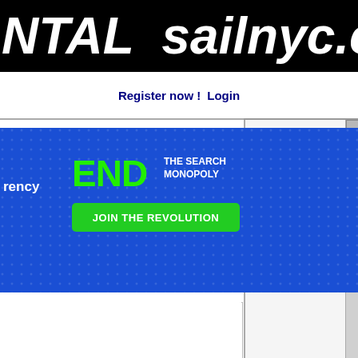NTAL sailnyc.co
Register now !   Login
[Figure (screenshot): Advertisement banner with blue background showing 'END THE SEARCH MONOPOLY' in green and white text with a green 'JOIN THE REVOLUTION' button. A close button (X) is in the top right corner. The text 'rency' appears on the left side.]
[Figure (screenshot): Empty white content box with border]
[Figure (screenshot): Empty white content area below the bordered box]